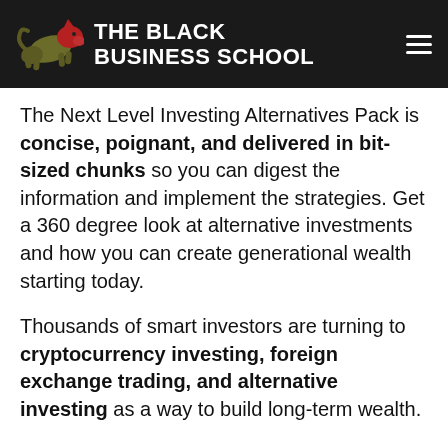THE BLACK BUSINESS SCHOOL
The Next Level Investing Alternatives Pack is concise, poignant, and delivered in bit-sized chunks so you can digest the information and implement the strategies. Get a 360 degree look at alternative investments and how you can create generational wealth starting today.
Thousands of smart investors are turning to cryptocurrency investing, foreign exchange trading, and alternative investing as a way to build long-term wealth.